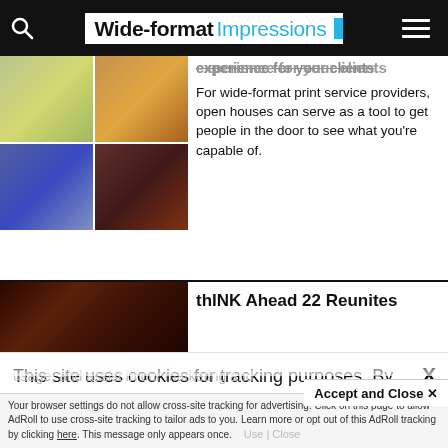Wide-format Impressions
[Figure (photo): 2x2 grid of wide-format print shop photos]
experience for your clients
For wide-format print service providers, open houses can serve as a tool to get people in the door to see what you're capable of.
[Figure (photo): Dark reddish-brown textured background photo]
thINK Ahead 22 Reunites
This site uses cookies for tracking purposes. By continuing to browse our website, you agree to the storing of first- and third-party cookies on your device to enhance site navigation, analyze site usage, and assist in our marketing and
Accept and Close ✕
Your browser settings do not allow cross-site tracking for advertising. Click on this page to allow AdRoll to use cross-site tracking to tailor ads to you. Learn more or opt out of this AdRoll tracking by clicking here. This message only appears once.